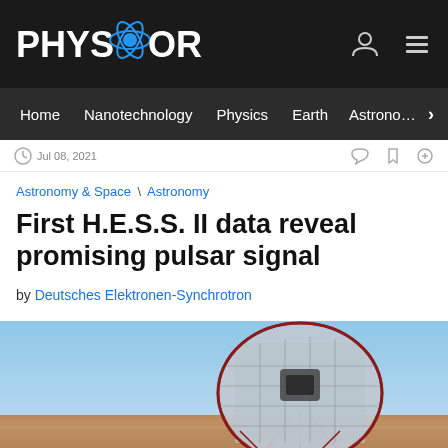PHYS.ORG
Home | Nanotechnology | Physics | Earth | Astronomy
Jul 08, 2021
Astronomy & Space \ Astronomy
First H.E.S.S. II data reveal promising pulsar signal
by Deutsches Elektronen-Synchrotron
[Figure (photo): Large H.E.S.S. II telescope dish on a red metal frame structure in a desert landscape under a clear blue sky, with smaller telescope domes visible in the background.]